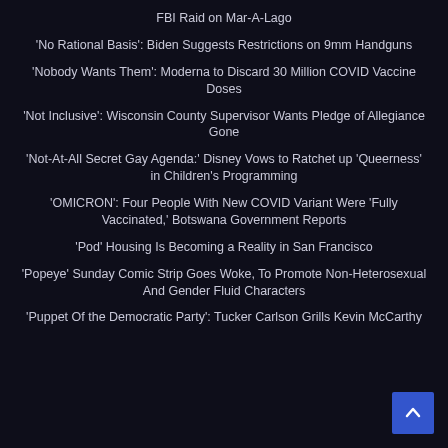FBI Raid on Mar-A-Lago
'No Rational Basis': Biden Suggests Restrictions on 9mm Handguns
'Nobody Wants Them': Moderna to Discard 30 Million COVID Vaccine Doses
'Not Inclusive': Wisconsin County Supervisor Wants Pledge of Allegiance Gone
'Not-At-All Secret Gay Agenda:' Disney Vows to Ratchet up 'Queerness' in Children's Programming
'OMICRON': Four People With New COVID Variant Were 'Fully Vaccinated,' Botswana Government Reports
'Pod' Housing Is Becoming a Reality in San Francisco
'Popeye' Sunday Comic Strip Goes Woke, To Promote Non-Heterosexual And Gender Fluid Characters
'Puppet Of the Democratic Party': Tucker Carlson Grills Kevin McCarthy